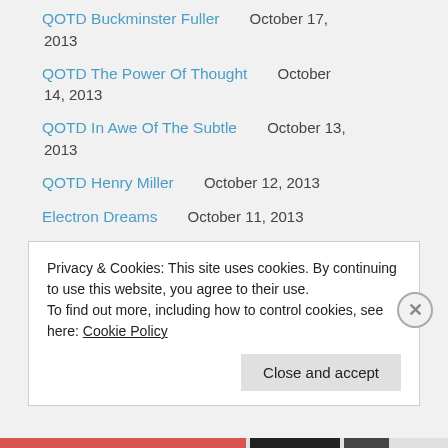QOTD Buckminster Fuller October 17, 2013
QOTD The Power Of Thought October 14, 2013
QOTD In Awe Of The Subtle October 13, 2013
QOTD Henry Miller October 12, 2013
Electron Dreams October 11, 2013
QOTD Richard Feynman October 11, 2013
Privacy & Cookies: This site uses cookies. By continuing to use this website, you agree to their use. To find out more, including how to control cookies, see here: Cookie Policy
Close and accept